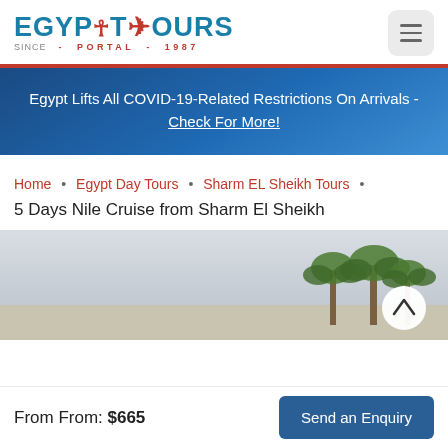[Figure (logo): Egypt Tours Portal logo with ankh symbol and airplane, teal and red colors, 'SINCE - PORTAL - 1987' subtitle]
[Figure (other): Hamburger menu icon (three horizontal lines) inside a light gray rounded square button]
Egypt Lifts All COVID-19-Related Restrictions On Arrivals - Check For More!
Home • Egypt Day Tours • Sharm EL Sheikh Tours •
5 Days Nile Cruise from Sharm El Sheikh
[Figure (photo): Partial photo showing sky, landscape, and palm trees on the right side]
From From: $665
Send an Enquiry